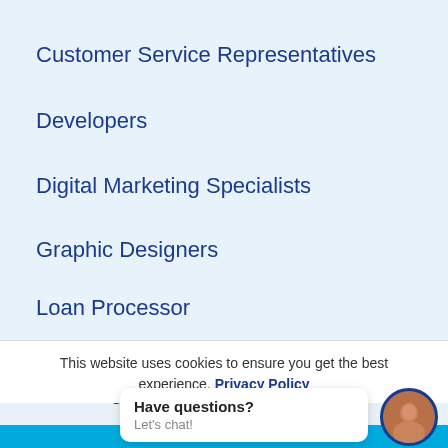Customer Service Representatives
Developers
Digital Marketing Specialists
Graphic Designers
Loan Processor
Outbound/Inbound Sales Agents
This website uses cookies to ensure you get the best experience. Privacy Policy
Have questions? Let's chat!